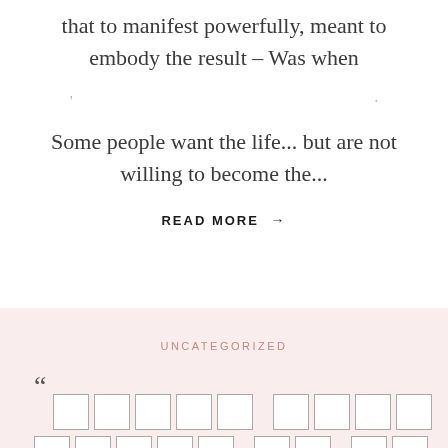that to manifest powerfully, meant to embody the result – Was when
Some people want the life... but are not willing to become the...
READ MORE →
UNCATEGORIZED
[Figure (other): Redacted/blurred text blocks with opening quotation mark and an arrow-up box in the corner]